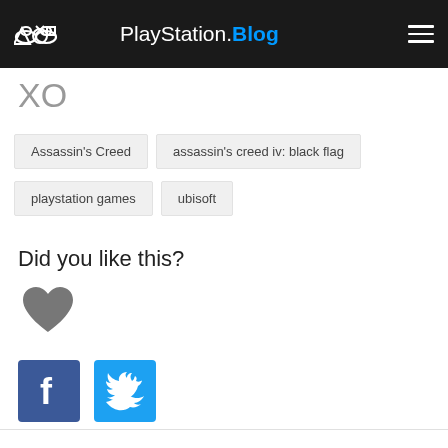PlayStation.Blog
XO
Assassin's Creed
assassin's creed iv: black flag
playstation games
ubisoft
Did you like this?
[Figure (illustration): Grey heart icon for like button]
[Figure (logo): Facebook share button - blue square with white F]
[Figure (logo): Twitter share button - blue square with white bird]